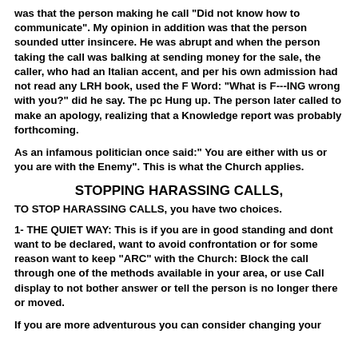was that the person making he call "Did not know how to communicate". My opinion in addition was that the person sounded utter insincere. He was abrupt and when the person taking the call was balking at sending money for the sale, the caller, who had an Italian accent, and per his own admission had not read any LRH book, used the F Word: "What is F---ING wrong with you?" did he say. The pc Hung up. The person later called to make an apology, realizing that a Knowledge report was probably forthcoming.
As an infamous politician once said:" You are either with us or you are with the Enemy". This is what the Church applies.
STOPPING HARASSING CALLS,
TO STOP HARASSING CALLS, you have two choices.
1- THE QUIET WAY: This is if you are in good standing and dont want to be declared, want to avoid confrontation or for some reason want to keep "ARC" with the Church: Block the call through one of the methods available in your area, or use Call display to not bother answer or tell the person is no longer there or moved.
If you are more adventurous you can consider changing your